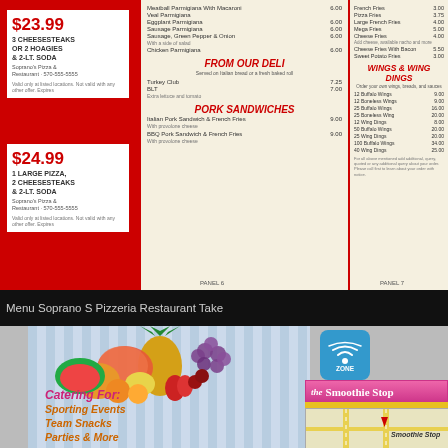[Figure (photo): Soprano S Pizzeria restaurant menu spread showing multiple panels: red left panel with combo deals ($23.99 and $24.99), center panels with deli/pork sandwich sections, and right panels with wings & wing dings pricing. Includes food photography of pasta/pizza dishes.]
Menu Soprano S Pizzeria Restaurant Take
[Figure (photo): Smoothie Stop catering brochure/menu showing striped light blue background, colorful fruit arrangement (pineapple, grapes, citrus, berries), catering text 'Catering For: Sporting Events Team Snacks Parties & More', WiFi Zone badge, Smoothie Stop banner, and a map showing location.]